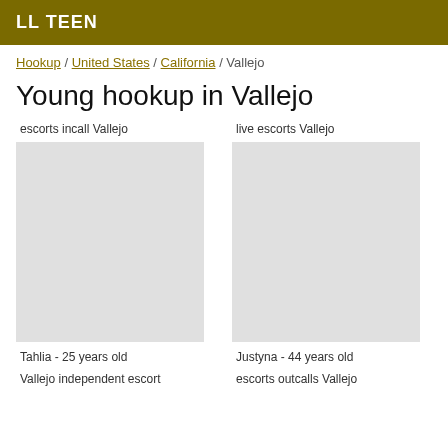LL TEEN
Hookup / United States / California / Vallejo
Young hookup in Vallejo
escorts incall Vallejo
live escorts Vallejo
[Figure (photo): Photo placeholder for Tahlia]
[Figure (photo): Photo placeholder for Justyna]
Tahlia - 25 years old
Justyna - 44 years old
Vallejo independent escort
escorts outcalls Vallejo